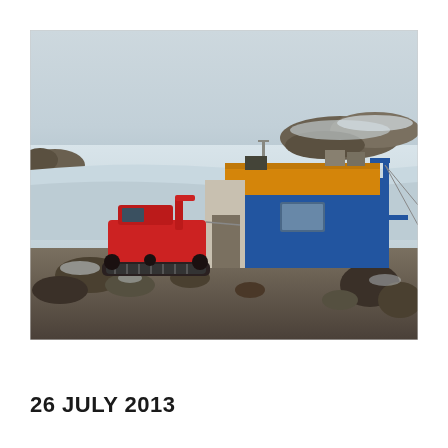[Figure (photo): Outdoor photograph of an Antarctic or Arctic research station in winter/polar conditions. A blue and orange/yellow modular field station building is shown on snowy, rocky terrain. A red tracked snow vehicle (snowcat) is parked to the left of the building. The building has antennas and equipment on its roof. Rocky outcrops are visible in the background against a snowy landscape. The foreground shows rocky ground dusted with snow.]
26 JULY 2013